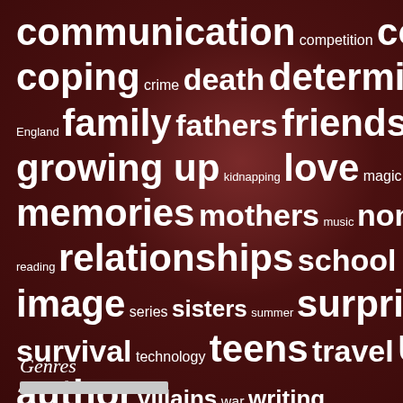[Figure (infographic): Word cloud on a dark red/maroon background featuring book-related themes in varying font sizes. Words include: communication, competition, conflict, coping, crime, death, determination, England, family, fathers, friendship, funny, growing up, kidnapping, love, magic, medical, memories, mothers, music, non-US author, reading, relationships, school, self-image, series, sisters, summer, surprises, survival, technology, teens, travel, US author, villains, war, writing. Larger words indicate higher frequency.]
Genres